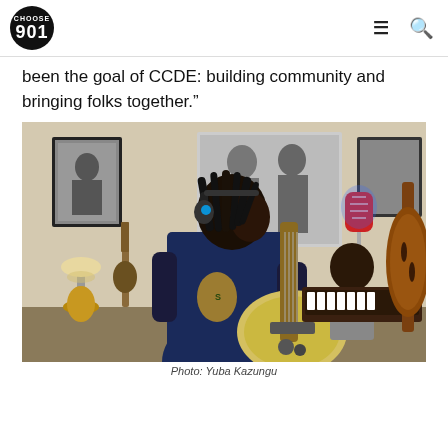CHOOSE 901
been the goal of CCDE: building community and bringing folks together.”
[Figure (photo): A musician with dreadlocks wearing headphones plays an electric guitar in a recording studio. Behind him, another musician sits at a keyboard/organ. A vintage microphone on a stand is visible in the center. Framed black-and-white photographs hang on the walls. A large double bass is visible on the right.]
Photo: Yuba Kazungu